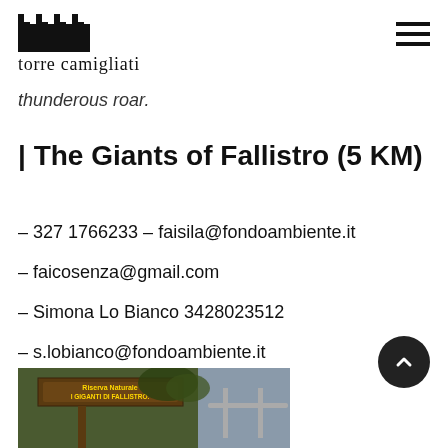torre camigliati
thunderous roar.
| The Giants of Fallistro (5 KM)
– 327 1766233 – faisila@fondoambiente.it
– faicosenza@gmail.com
– Simona Lo Bianco 3428023512
– s.lobianco@fondoambiente.it
[Figure (photo): Wooden sign for Riserva Naturale I Giganti di Fallistro nature reserve, partially visible at bottom of page]